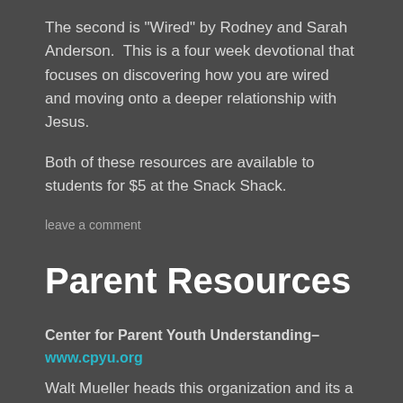The second is "Wired" by Rodney and Sarah Anderson. This is a four week devotional that focuses on discovering how you are wired and moving onto a deeper relationship with Jesus.
Both of these resources are available to students for $5 at the Snack Shack.
leave a comment
Parent Resources
Center for Parent Youth Understanding–
www.cpyu.org
Walt Mueller heads this organization and its a great place to start a broader awareness of the upcoming...